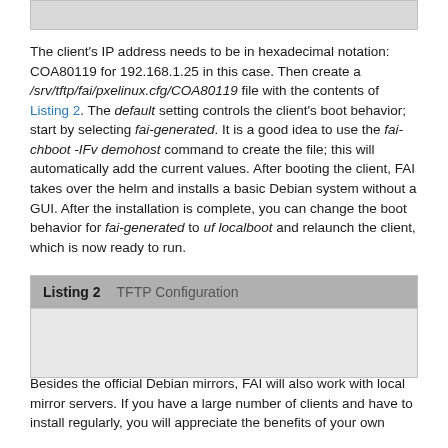[Figure (other): Gray bar at top of page, partial code listing continuation]
The client's IP address needs to be in hexadecimal notation: COA80119 for 192.168.1.25 in this case. Then create a /srv/tftp/fai/pxelinux.cfg/COA80119 file with the contents of Listing 2. The default setting controls the client's boot behavior; start by selecting fai-generated. It is a good idea to use the fai-chboot -IFv demohost command to create the file; this will automatically add the current values. After booting the client, FAI takes over the helm and installs a basic Debian system without a GUI. After the installation is complete, you can change the boot behavior for fai-generated to uf localboot and relaunch the client, which is now ready to run.
Listing 2   TFTP Configuration
[Figure (other): Gray shaded body area of Listing 2 code box (content not visible)]
Besides the official Debian mirrors, FAI will also work with local mirror servers. If you have a large number of clients and have to install regularly, you will appreciate the benefits of your own